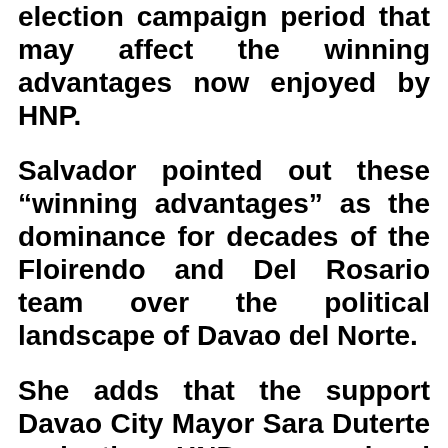election campaign period that may affect the winning advantages now enjoyed by HNP.
Salvador pointed out these “winning advantages” as the dominance for decades of the Floirendo and Del Rosario team over the political landscape of Davao del Norte.
She adds that the support Davao City Mayor Sara Duterte and the HNP, a regional political party of the presidential daughter, will play a crucial role in the victory of the Floirendo/Del Rosario team.